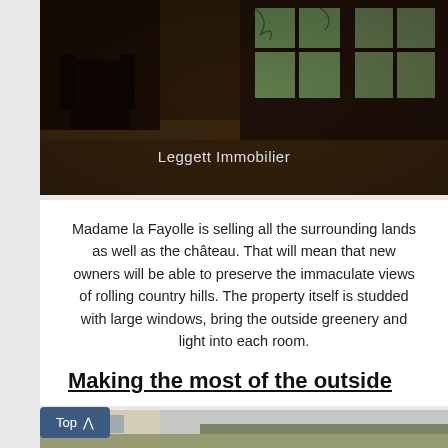[Figure (photo): Interior photo of a grand room with ornate windows looking out to greenery, dark wood floors and a decorative chair visible, with 'Leggett Immobilier' watermark text overlay]
Madame la Fayolle is selling all the surrounding lands as well as the château. That will mean that new owners will be able to preserve the immaculate views of rolling country hills. The property itself is studded with large windows, bring the outside greenery and light into each room.
Making the most of the outside
[Figure (photo): Exterior photo of a large French château with classical stone facade on the left, and expansive rolling countryside and trees in the background under an overcast sky]